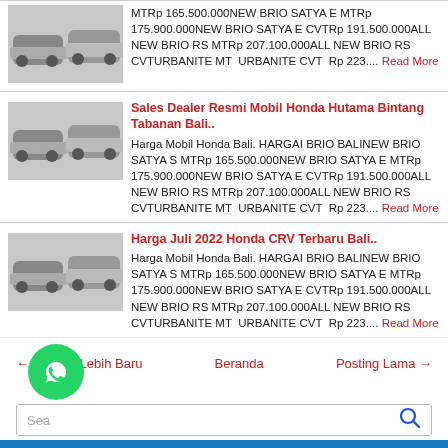MTRp 165.500.000NEW BRIO SATYA E MTRp 175.900.000NEW BRIO SATYA E CVTRp 191.500.000ALL NEW BRIO RS MTRp 207.100.000ALL NEW BRIO RS CVTURBANITE MT  URBANITE CVT  Rp 223.... Read More
Sales Dealer Resmi Mobil Honda Hutama Bintang Tabanan Bali.. Harga Mobil Honda Bali. HARGAI BRIO BALINEW BRIO SATYA S MTRp 165.500.000NEW BRIO SATYA E MTRp 175.900.000NEW BRIO SATYA E CVTRp 191.500.000ALL NEW BRIO RS MTRp 207.100.000ALL NEW BRIO RS CVTURBANITE MT  URBANITE CVT  Rp 223.... Read More
Harga Juli 2022 Honda CRV Terbaru Bali.. Harga Mobil Honda Bali. HARGAI BRIO BALINEW BRIO SATYA S MTRp 165.500.000NEW BRIO SATYA E MTRp 175.900.000NEW BRIO SATYA E CVTRp 191.500.000ALL NEW BRIO RS MTRp 207.100.000ALL NEW BRIO RS CVTURBANITE MT  URBANITE CVT  Rp 223.... Read More
← Posting Lebih Baru    Beranda    Posting Lama →
[Figure (other): WhatsApp green circular button icon]
Search bar with magnifying glass icon